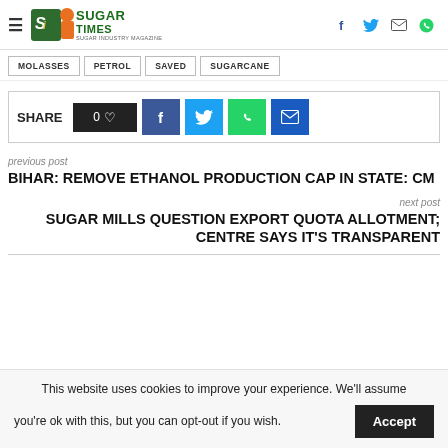Sugar Times — Sugar Industry Magazine header with navigation and social icons (Facebook, Twitter, Mail, WhatsApp)
MOLASSES
PETROL
SAVED
SUGARCANE
SHARE 0 ♡ [Facebook] [Twitter] [WhatsApp] [Email]
previous post
BIHAR: REMOVE ETHANOL PRODUCTION CAP IN STATE: CM
next post
SUGAR MILLS QUESTION EXPORT QUOTA ALLOTMENT; CENTRE SAYS IT'S TRANSPARENT
This website uses cookies to improve your experience. We'll assume you're ok with this, but you can opt-out if you wish. Accept